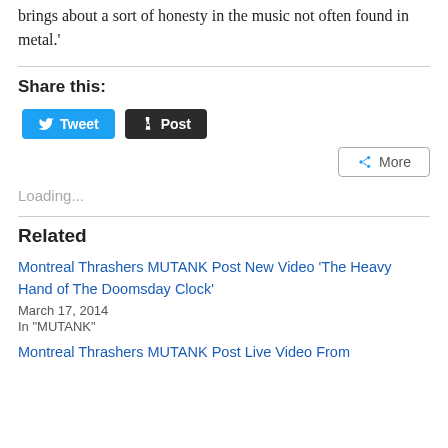brings about a sort of honesty in the music not often found in metal.'
Share this:
Loading...
Related
Montreal Thrashers MUTANK Post New Video ‘The Heavy Hand of The Doomsday Clock’
March 17, 2014
In "MUTANK"
Montreal Thrashers MUTANK Post Live Video From